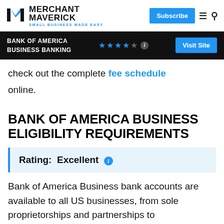[Figure (logo): Merchant Maverick logo with M icon and tagline SMALL BUSINESS MADE EASY]
[Figure (infographic): Bank of America Business Banking header banner with 4.5 star rating and Visit Site button]
check out the complete fee schedule online.
BANK OF AMERICA BUSINESS ELIGIBILITY REQUIREMENTS
Rating: Excellent
Bank of America Business bank accounts are available to all US businesses, from sole proprietorships and partnerships to